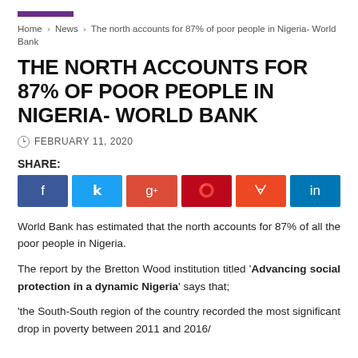Home › News › The north accounts for 87% of poor people in Nigeria- World Bank
THE NORTH ACCOUNTS FOR 87% OF POOR PEOPLE IN NIGERIA- WORLD BANK
FEBRUARY 11, 2020
SHARE:
World Bank has estimated that the north accounts for 87% of all the poor people in Nigeria.
The report by the Bretton Wood institution titled 'Advancing social protection in a dynamic Nigeria' says that;
'the South-South region of the country recorded the most significant drop in poverty between 2011 and 2016/